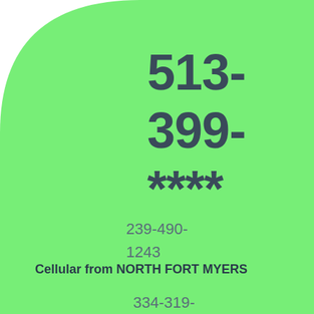[Figure (illustration): Large light green rounded arc/circle shape covering the upper-left to center-right of the page, serving as a decorative background element.]
513-399-****
239-490-1243
Cellular from NORTH FORT MYERS
334-319-